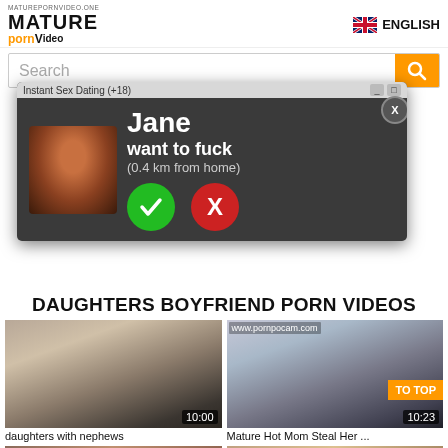MATUREPORNVIDEO.ONE MATURE pornVideo | ENGLISH
[Figure (screenshot): Search bar with orange search button]
[Figure (screenshot): Popup ad: Instant Sex Dating (+18) - Jane want to fuck (0.4 km from home) with yes/no buttons]
DAUGHTERS BOYFRIEND PORN VIDEOS
[Figure (screenshot): Video thumbnail: daughters with nephews, duration 10:00]
[Figure (screenshot): Video thumbnail: Mature Hot Mom Steal Her ..., duration 10:23, TO TOP badge]
daughters with nephews
Mature Hot Mom Steal Her ...
[Figure (screenshot): Bottom left video thumbnail (partial)]
[Figure (screenshot): Bottom right video thumbnail (partial)]